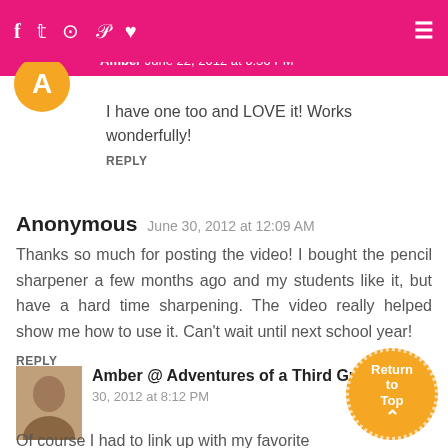Navigation bar with social icons: f, twitter, instagram, pinterest, heart, hamburger menu
Amber June 22, 2012 at 6:36 PM
I have one too and LOVE it! Works wonderfully!
REPLY
Anonymous June 30, 2012 at 12:09 AM
Thanks so much for posting the video! I bought the pencil sharpener a few months ago and my students like it, but have a hard time sharpening. The video really helped show me how to use it. Can't wait until next school year!
REPLY
Amber @ Adventures of a Third Grade Tea... June 30, 2012 at 8:12 PM
Of course I had to link up with my favorite blogger! :)